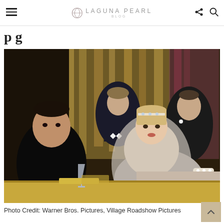LAGUNA PEARL BLOG
p g
[Figure (photo): Scene from The Great Gatsby movie: several actors in 1920s formal attire gathered around a bar or table; a woman with blonde hair and a jeweled headband leans on the bar wearing a pearl bracelet; men in tuxedos in the background against a glittering curtain backdrop.]
Photo Credit: Warner Bros. Pictures, Village Roadshow Pictures